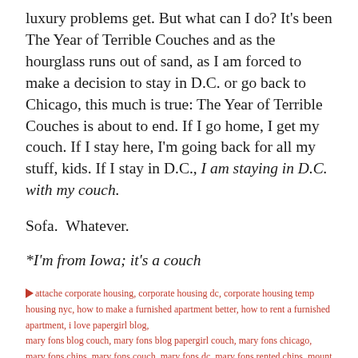luxury problems get. But what can I do? It's been The Year of Terrible Couches and as the hourglass runs out of sand, as I am forced to make a decision to stay in D.C. or go back to Chicago, this much is true: The Year of Terrible Couches is about to end. If I go home, I get my couch. If I stay here, I'm going back for all my stuff, kids. If I stay in D.C., I am staying in D.C. with my couch.
Sofa.  Whatever.
*I'm from Iowa; it's a couch
attache corporate housing, corporate housing dc, corporate housing temp housing nyc, how to make a furnished apartment better, how to rent a furnished apartment, i love papergirl blog, mary fons blog couch, mary fons blog papergirl couch, mary fons chicago, mary fons chips, mary fons couch, mary fons dc, mary fons rented chips, mount vernon triangle, my couch is amazing, my couch sucks, papergirl couch sofa, read papergirl and send it to your friends because if i get